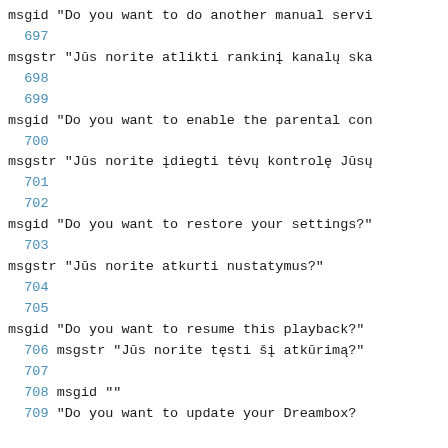msgid "Do you want to do another manual servi
 697
msgstr "Jūs norite atlikti rankinį kanalų ska
 698
 699
msgid "Do you want to enable the parental con
 700
msgstr "Jūs norite įdiegti tėvų kontrolę Jūsų
 701
 702
msgid "Do you want to restore your settings?"
 703
msgstr "Jūs norite atkurti nustatymus?"
 704
 705
msgid "Do you want to resume this playback?"
 706 msgstr "Jūs norite tęsti šį atkūrimą?"
 707
 708 msgid ""
 709 "Do you want to update your Dreambox?